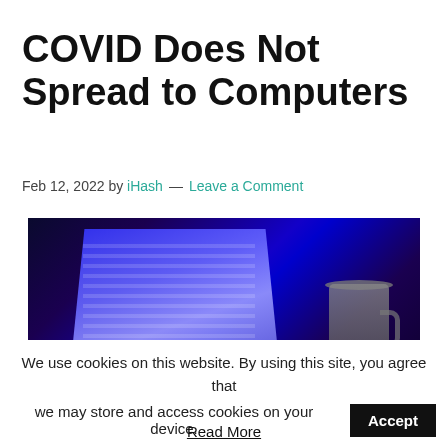COVID Does Not Spread to Computers
Feb 12, 2022 by iHash — Leave a Comment
[Figure (photo): Dark-toned photo of a laptop with a bright blue glowing screen showing rows of data, with a mug in the background, set against a very dark environment.]
We use cookies on this website. By using this site, you agree that we may store and access cookies on your device. Accept
Read More